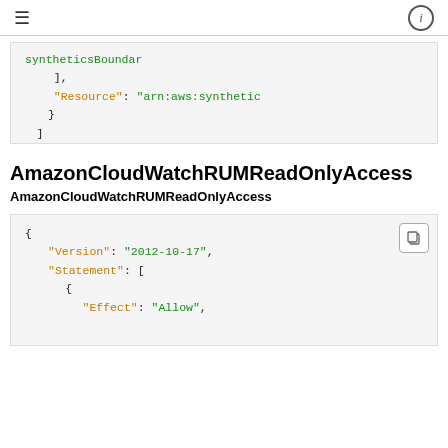≡  (i)
],
"Resource": "arn:aws:synthetic..."
    }
  ]
}
AmazonCloudWatchRUMReadOnlyAccess
AmazonCloudWatchRUMReadOnlyAccess
{
    "Version": "2012-10-17",
    "Statement": [
        {
            "Effect": "Allow",